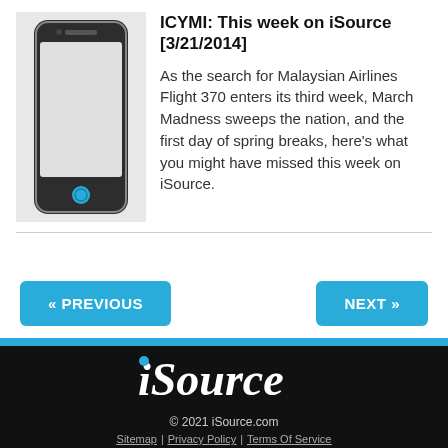[Figure (illustration): A smartphone (iPhone-style) illustration with a dark body, silver border, home button at bottom, and a light-colored screen on a gray background.]
ICYMI: This week on iSource [3/21/2014]
As the search for Malaysian Airlines Flight 370 enters its third week, March Madness sweeps the nation, and the first day of spring breaks, here’s what you might have missed this week on iSource.
« PREVIOUS
NEXT »
[Figure (logo): iSource logo in white italic bold text on black background, with a blue dot over the i.]
© 2021 iSource.com
Sitemap | Privacy Policy | Terms Of Service